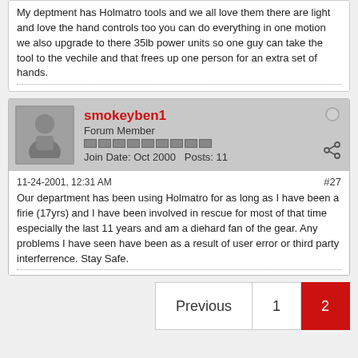My deptment has Holmatro tools and we all love them there are light and love the hand controls too you can do everything in one motion we also upgrade to there 35lb power units so one guy can take the tool to the vechile and that frees up one person for an extra set of hands.
smokeyben1
Forum Member
Join Date: Oct 2000    Posts: 11
11-24-2001, 12:31 AM
#27
Our department has been using Holmatro for as long as I have been a firie (17yrs) and I have been involved in rescue for most of that time especially the last 11 years and am a diehard fan of the gear. Any problems I have seen have been as a result of user error or third party interferrence. Stay Safe.
Previous  1  2